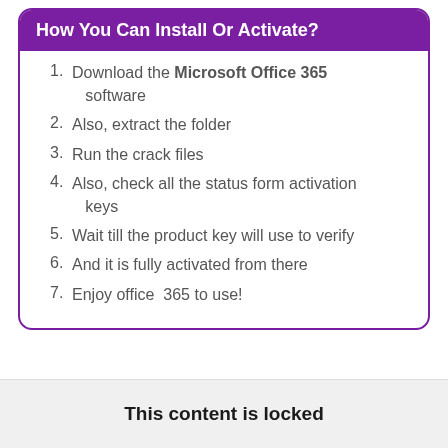How You Can Install Or Activate?
Download the Microsoft Office 365 software
Also, extract the folder
Run the crack files
Also, check all the status form activation keys
Wait till the product key will use to verify
And it is fully activated from there
Enjoy office  365 to use!
This content is locked